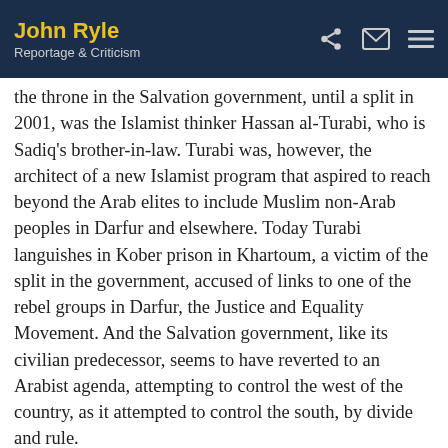John Ryle | Reportage & Criticism
the throne in the Salvation government, until a split in 2001, was the Islamist thinker Hassan al-Turabi, who is Sadiq's brother-in-law. Turabi was, however, the architect of a new Islamist program that aspired to reach beyond the Arab elites to include Muslim non-Arab peoples in Darfur and elsewhere. Today Turabi languishes in Kober prison in Khartoum, a victim of the split in the government, accused of links to one of the rebel groups in Darfur, the Justice and Equality Movement. And the Salvation government, like its civilian predecessor, seems to have reverted to an Arabist agenda, attempting to control the west of the country, as it attempted to control the south, by divide and rule.
Control of the peripheral regions of Sudan has thus come to depend on a strategy that combines